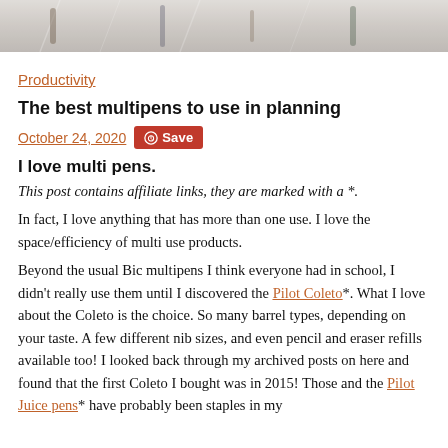[Figure (photo): Top portion of a photo showing pens/pencils on a light surface, partially cropped]
Productivity
The best multipens to use in planning
October 24, 2020  Save
I love multi pens.
This post contains affiliate links, they are marked with a *.
In fact, I love anything that has more than one use. I love the space/efficiency of multi use products.
Beyond the usual Bic multipens I think everyone had in school, I didn't really use them until I discovered the Pilot Coleto*. What I love about the Coleto is the choice. So many barrel types, depending on your taste. A few different nib sizes, and even pencil and eraser refills available too! I looked back through my archived posts on here and found that the first Coleto I bought was in 2015! Those and the Pilot Juice pens* have probably been staples in my collection longer than any other I have.